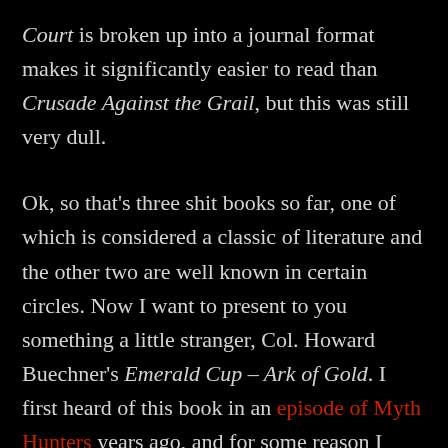Court is broken up into a journal format makes it significantly easier to read than Crusade Against the Grail, but this was still very dull.
Ok, so that's three shit books so far, one of which is considered a classic of literature and the other two are well known in certain circles. Now I want to present to you something a little stranger, Col. Howard Buechner's Emerald Cup – Ark of Gold. I first heard of this book in an episode of Myth Hunters years ago, and for some reason I can't remember, I set my heart on finding a copy. I eventually found an affordable copy online and bought it, but it remained on my shelf for four years before I got around to reading it. I was pretty happy to